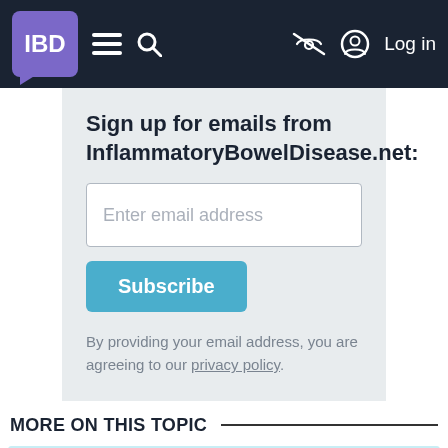IBD | Menu | Search | (eye-off icon) | Log in
Sign up for emails from InflammatoryBowelDisease.net:
Enter email address
Subscribe
By providing your email address, you are agreeing to our privacy policy.
MORE ON THIS TOPIC
[Figure (illustration): A cartoon brain character wearing a graduation cap and holding a pointer, on a light blue background]